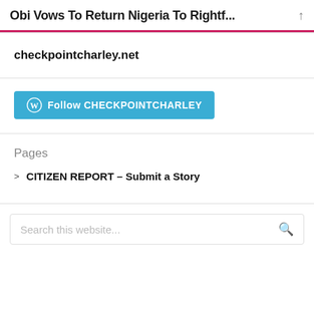Obi Vows To Return Nigeria To Rightf...
checkpointcharley.net
[Figure (other): Follow CHECKPOINTCHARLEY button with WordPress logo]
Pages
CITIZEN REPORT – Submit a Story
Search this website...